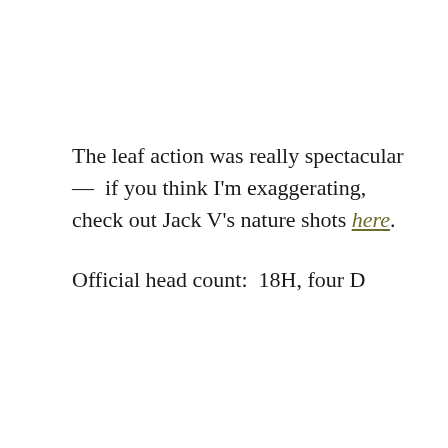The leaf action was really spectacular — if you think I'm exaggerating, check out Jack V's nature shots here.
Official head count:  18H, four D